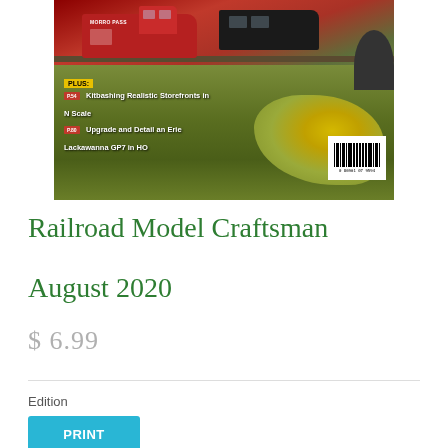[Figure (photo): Magazine cover of Railroad Model Craftsman August 2020. Shows a red locomotive and a dark locomotive on tracks with yellow wildflower terrain in the background. Overlay text says PLUS: Kitbashing Realistic Storefronts in N Scale, Upgrade and Detail an Erie Lackawanna GP7 in HO. Barcode visible in lower right.]
Railroad Model Craftsman
August 2020
$ 6.99
Edition
PRINT